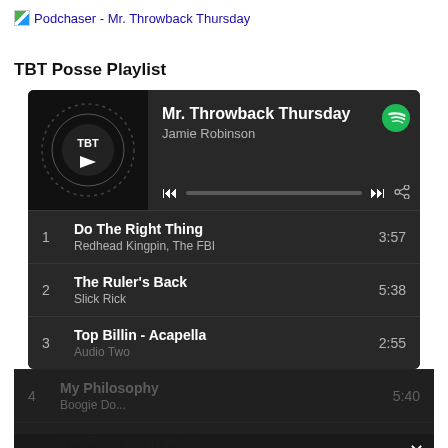Podchaser - Mr. Throwback Thursday
TBT Posse Playlist
[Figure (screenshot): Spotify embedded playlist widget showing Mr. Throwback Thursday by Jamie Robinson with player controls and playlist tracks]
1  Do The Right Thing  3:57  Redhead Kingpin, The FBI
2  The Ruler's Back  5:38  Slick Rick
3  Top Billin - Acapella  2:55  Audio Two
4  My Philosophy  5:40  Boogie Do...
5  The Roof Is On Fi...o...  5:...  Rock Master Sco...y...
Privacy Preferences
I Agree
Hit Us Up!